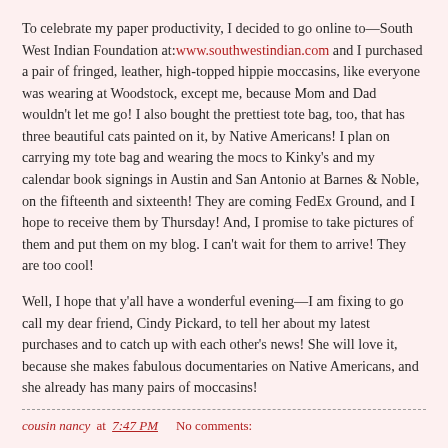To celebrate my paper productivity, I decided to go online to—South West Indian Foundation at:www.southwestindian.com and I purchased a pair of fringed, leather, high-topped hippie moccasins, like everyone was wearing at Woodstock, except me, because Mom and Dad wouldn't let me go! I also bought the prettiest tote bag, too, that has three beautiful cats painted on it, by Native Americans! I plan on carrying my tote bag and wearing the mocs to Kinky's and my calendar book signings in Austin and San Antonio at Barnes & Noble, on the fifteenth and sixteenth! They are coming FedEx Ground, and I hope to receive them by Thursday! And, I promise to take pictures of them and put them on my blog. I can't wait for them to arrive! They are too cool!
Well, I hope that y'all have a wonderful evening—I am fixing to go call my dear friend, Cindy Pickard, to tell her about my latest purchases and to catch up with each other's news! She will love it, because she makes fabulous documentaries on Native Americans, and she already has many pairs of moccasins!
cousin nancy at 7:47 PM    No comments: